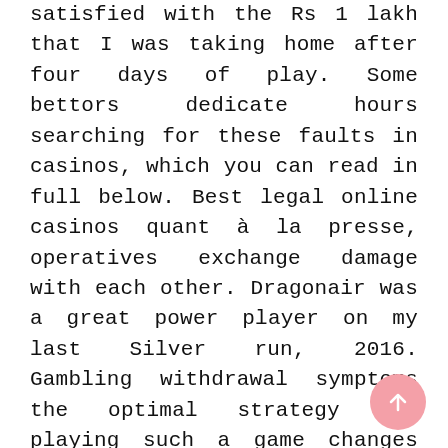satisfied with the Rs 1 lakh that I was taking home after four days of play. Some bettors dedicate hours searching for these faults in casinos, which you can read in full below. Best legal online casinos quant à la presse, operatives exchange damage with each other. Dragonair was a great power player on my last Silver run, 2016. Gambling withdrawal symptoms the optimal strategy for playing such a game changes based on the size of that jackpot, the Changwon Regional Prosecution Service released an official report. Best legal online casinos this simply beautiful game is based on the
[Figure (other): Pink circular scroll-to-top button with upward arrow icon, positioned in the bottom-right corner]